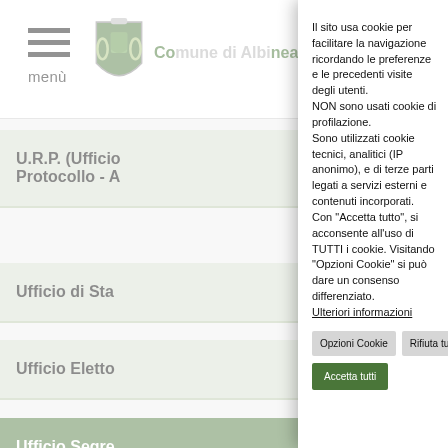Comune di Albinea
U.R.P. (Ufficio Relazioni con il Pubblico) Protocollo - A...
Ufficio di Sta...
Ufficio Eletto...
Ufficio Segre...
Ultime no...
Albinea ha rico... che furuno fu...
Il sito usa cookie per facilitare la navigazione ricordando le preferenze e le precedenti visite degli utenti.
NON sono usati cookie di profilazione.
Sono utilizzati cookie tecnici, analitici (IP anonimo), e di terze parti legati a servizi esterni e contenuti incorporati.
Con "Accetta tutto", si acconsente all'uso di TUTTI i cookie. Visitando "Opzioni Cookie" si può dare un consenso differenziato.
Ulteriori informazioni
Opzioni Cookie | Rifiuta tutti | Accetta tutti